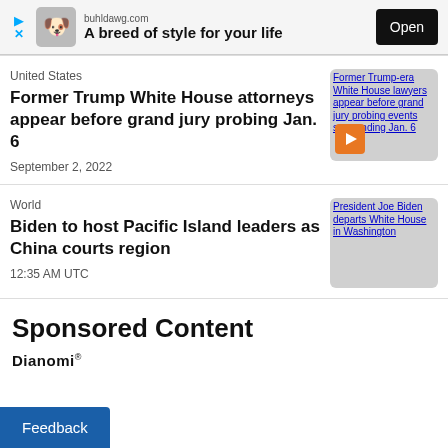[Figure (other): Advertisement banner for buhldawg.com with dog icon, tagline 'A breed of style for your life', and Open button]
United States
Former Trump White House attorneys appear before grand jury probing Jan. 6
September 2, 2022
[Figure (photo): Thumbnail image: Former Trump-era White House lawyers appear before grand jury probing events surrounding Jan. 6, with orange video play button]
World
Biden to host Pacific Island leaders as China courts region
12:35 AM UTC
[Figure (photo): Thumbnail image: President Joe Biden departs White House in Washington]
Sponsored Content
Dianomi
Feedback